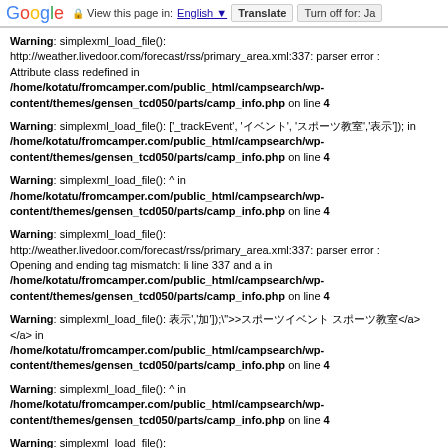Google | View this page in: English | Translate | Turn off for: Ja
Warning: simplexml_load_file(): http://weather.livedoor.com/forecast/rss/primary_area.xml:337: parser error : Attribute class redefined in /home/kotatu/fromcamper.com/public_html/campsearch/wp-content/themes/gensen_tcd050/parts/camp_info.php on line 4
Warning: simplexml_load_file(): ['_trackEvent', 'イベント', 'スポーツ教室','表示']); in /home/kotatu/fromcamper.com/public_html/campsearch/wp-content/themes/gensen_tcd050/parts/camp_info.php on line 4
Warning: simplexml_load_file(): ^ in /home/kotatu/fromcamper.com/public_html/campsearch/wp-content/themes/gensen_tcd050/parts/camp_info.php on line 4
Warning: simplexml_load_file(): http://weather.livedoor.com/forecast/rss/primary_area.xml:337: parser error : Opening and ending tag mismatch: li line 337 and a in /home/kotatu/fromcamper.com/public_html/campsearch/wp-content/themes/gensen_tcd050/parts/camp_info.php on line 4
Warning: simplexml_load_file(): 表示','加']);">>スポーツイベント スポーツ教室</a> </a> in /home/kotatu/fromcamper.com/public_html/campsearch/wp-content/themes/gensen_tcd050/parts/camp_info.php on line 4
Warning: simplexml_load_file(): ^ in /home/kotatu/fromcamper.com/public_html/campsearch/wp-content/themes/gensen_tcd050/parts/camp_info.php on line 4
Warning: simplexml_load_file(): http://weather.livedoor.com/forecast/rss/primary_area.xml:337: parser error : Opening and ending tag mismatch: link line 39 and li in /home/kotatu/fromcamper.com/public_html/campsearch/wp-content/themes/gensen_tcd050/parts/camp_info.php on line 4